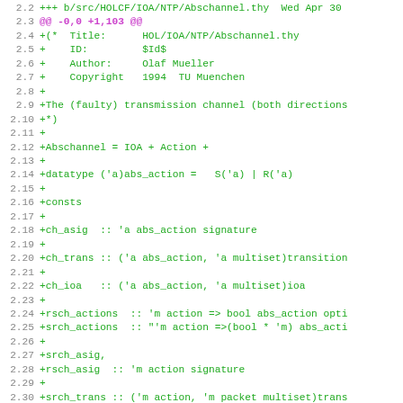Code diff showing new file HOL/IOA/NTP/Abschannel.thy with lines 2.2 through 2.34, all added lines (+) in green, diff header in magenta
2.2  +++ b/src/HOLCF/IOA/NTP/Abschannel.thy  Wed Apr 30
2.3  @@ -0,0 +1,103 @@
2.4  +(*  Title:      HOL/IOA/NTP/Abschannel.thy
2.5  +    ID:         $Id$
2.6  +    Author:     Olaf Mueller
2.7  +    Copyright   1994  TU Muenchen
2.8  +
2.9  +The (faulty) transmission channel (both directions
2.10 +*)
2.11 +
2.12 +Abschannel = IOA + Action +
2.13 +
2.14 +datatype ('a)abs_action =   S('a) | R('a)
2.15 +
2.16 +consts
2.17 +
2.18 +ch_asig  :: 'a abs_action signature
2.19 +
2.20 +ch_trans :: ('a abs_action, 'a multiset)transition
2.21 +
2.22 +ch_ioa   :: ('a abs_action, 'a multiset)ioa
2.23 +
2.24 +rsch_actions  :: 'm action => bool abs_action opti
2.25 +srch_actions  :: "'m action =>(bool * 'm) abs_acti
2.26 +
2.27 +srch_asig,
2.28 +rsch_asig  :: 'm action signature
2.29 +
2.30 +srch_trans :: ('m action, 'm packet multiset)trans
2.31 +rsch_trans :: ('m action, bool multiset)transition
2.32 +
2.33 +srch_ioa   :: ('m action, 'm packet multiset)ioa
2.34 +rsch_ioa   :: ('m action, bool multiset)ioa